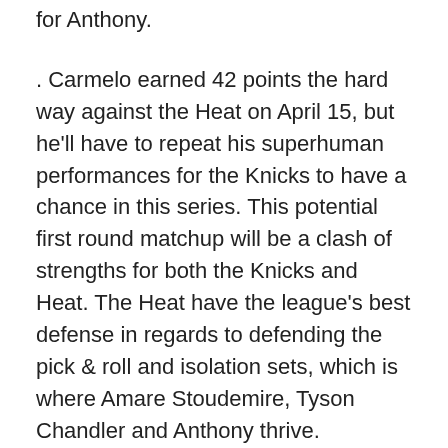for Anthony.
. Carmelo earned 42 points the hard way against the Heat on April 15, but he'll have to repeat his superhuman performances for the Knicks to have a chance in this series. This potential first round matchup will be a clash of strengths for both the Knicks and Heat. The Heat have the league's best defense in regards to defending the pick & roll and isolation sets, which is where Amare Stoudemire, Tyson Chandler and Anthony thrive.
While the Heat have gone 2-10 on the road since the All-Star break against quality opponents, the two wins have come against Philadelphia and…New York.
CHICAGO BULLS: